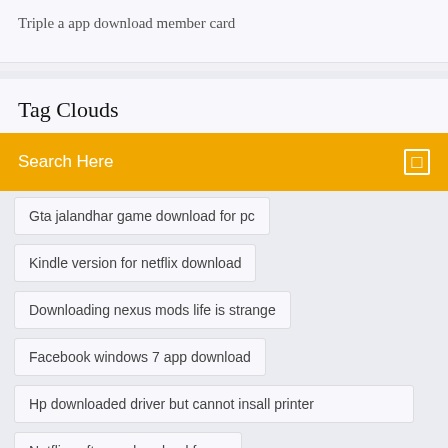Triple a app download member card
Tag Clouds
Search Here
Gta jalandhar game download for pc
Kindle version for netflix download
Downloading nexus mods life is strange
Facebook windows 7 app download
Hp downloaded driver but cannot insall printer
Netflix software download for pc